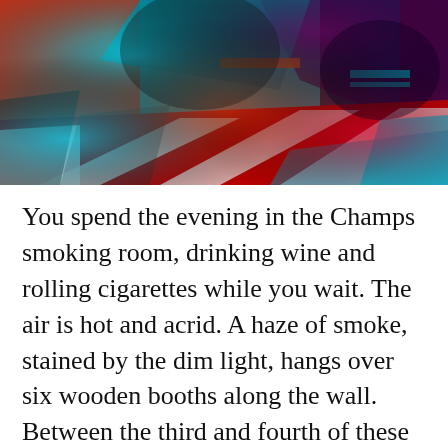[Figure (illustration): Abstract colorful digital artwork with vivid cyan, red, orange and dark purple tones depicting overlapping geometric and figurative forms]
You spend the evening in the Champs smoking room, drinking wine and rolling cigarettes while you wait. The air is hot and acrid. A haze of smoke, stained by the dim light, hangs over six wooden booths along the wall. Between the third and fourth of these is a soundproofed door leading to the bar. When it is opened, music breaks into the room and rages on until someone shouts to close the fucking door, and then it is slammed shut again. The door is closed now, but you can feel the